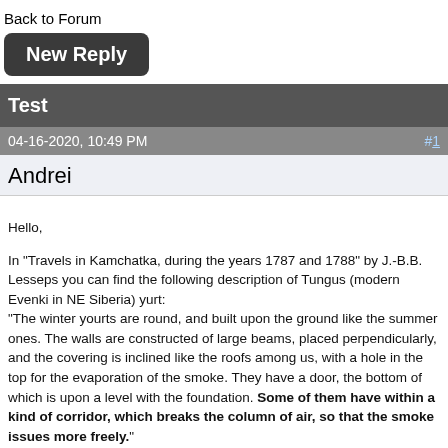Back to Forum
New Reply
Test
04-16-2020, 10:49 PM   #1
Andrei
Hello,

In "Travels in Kamchatka, during the years 1787 and 1788" by J.-B.B. Lesseps you can find the following description of Tungus (modern Evenki in NE Siberia) yurt:
"The winter yourts are round, and built upon the ground like the summer ones. The walls are constructed of large beams, placed perpendicularly, and the covering is inclined like the roofs among us, with a hole in the top for the evaporation of the smoke. They have a door, the bottom of which is upon a level with the foundation. Some of them have within a kind of corridor, which breaks the column of air, so that the smoke issues more freely."

My question is re. the last sentence:
How does it really look? How does it work? What is that "corridor"